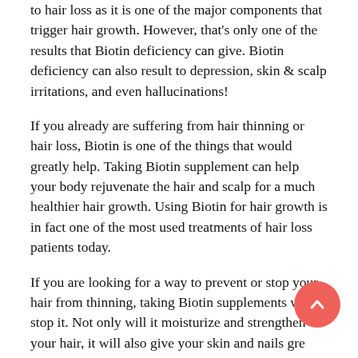to hair loss as it is one of the major components that trigger hair growth. However, that's only one of the results that Biotin deficiency can give. Biotin deficiency can also result to depression, skin & scalp irritations, and even hallucinations!
If you already are suffering from hair thinning or hair loss, Biotin is one of the things that would greatly help. Taking Biotin supplement can help your body rejuvenate the hair and scalp for a much healthier hair growth. Using Biotin for hair growth is in fact one of the most used treatments of hair loss patients today.
If you are looking for a way to prevent or stop your hair from thinning, taking Biotin supplements will stop it. Not only will it moisturize and strengthen your hair, it will also give your skin and nails great effects. Your nails will be much stronger and your skin will get proper moisture.